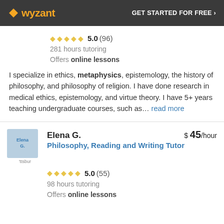wyzant  GET STARTED FOR FREE ›
5.0 (96)
281 hours tutoring
Offers online lessons
I specialize in ethics, metaphysics, epistemology, the history of philosophy, and philosophy of religion. I have done research in medical ethics, epistemology, and virtue theory. I have 5+ years teaching undergraduate courses, such as... read more
Elena G.  $ 45/hour
Philosophy, Reading and Writing Tutor
5.0 (55)
98 hours tutoring
Offers online lessons